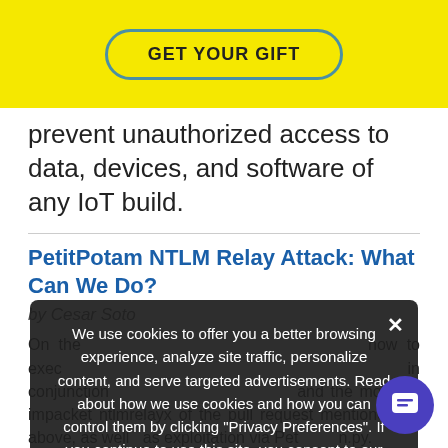GET YOUR GIFT
prevent unauthorized access to data, devices, and software of any IoT build.
PetitPotam NTLM Relay Attack: What Can We Do?
by Cesar Soto
On the... how to execute... in conjunction... and the modified impacket ntlmrelayx of the pull request mentioned above, as well as exploitation via PetitPotam.py.
We use cookies to offer you a better browsing experience, analyze site traffic, personalize content, and serve targeted advertisements. Read about how we use cookies and how you can control them by clicking "Privacy Preferences". If you continue to use this site, you consent to our use of cookies.
Privacy Preferences
I Agree